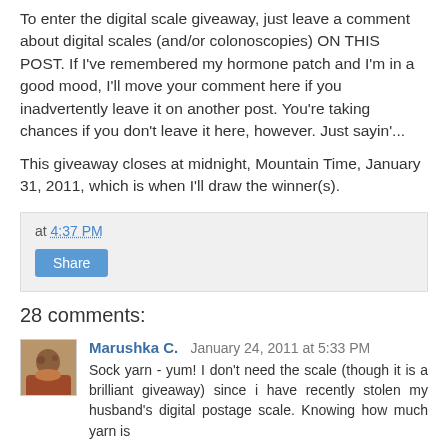To enter the digital scale giveaway, just leave a comment about digital scales (and/or colonoscopies) ON THIS POST. If I've remembered my hormone patch and I'm in a good mood, I'll move your comment here if you inadvertently leave it on another post. You're taking chances if you don't leave it here, however. Just sayin'...
This giveaway closes at midnight, Mountain Time, January 31, 2011, which is when I'll draw the winner(s).
at 4:37 PM
Share
28 comments:
Marushka C.  January 24, 2011 at 5:33 PM
Sock yarn - yum! I don't need the scale (though it is a brilliant giveaway) since i have recently stolen my husband's digital postage scale. Knowing how much yarn is